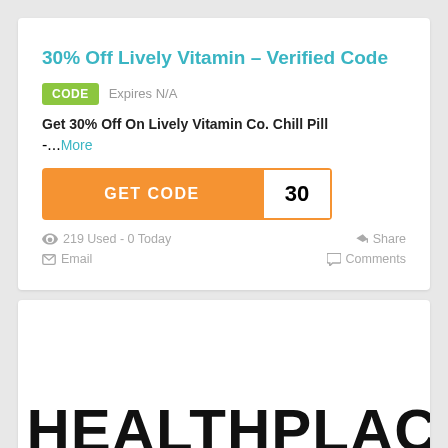30% Off Lively Vitamin – Verified Code
CODE   Expires N/A
Get 30% Off On Lively Vitamin Co. Chill Pill -...More
GET CODE  30
219 Used - 0 Today   Share   Email   Comments
[Figure (logo): Partial logo/text at bottom of page showing HEALTHPLACE in large bold black letters]